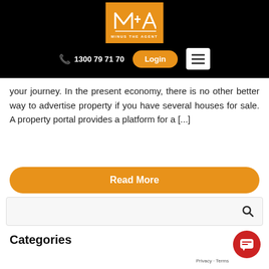[Figure (logo): Minus The Agent logo — orange rectangle with stylized M+A letters and text MINUS THE AGENT below]
1300 79 71 70  Login
your journey. In the present economy, there is no other better way to advertise property if you have several houses for sale. A property portal provides a platform for a [...]
Read More
[Figure (screenshot): Search input box with magnifying glass icon on the right]
Categories